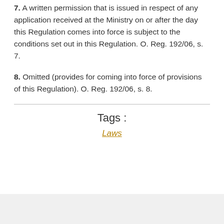7. A written permission that is issued in respect of any application received at the Ministry on or after the day this Regulation comes into force is subject to the conditions set out in this Regulation. O. Reg. 192/06, s. 7.
8. Omitted (provides for coming into force of provisions of this Regulation). O. Reg. 192/06, s. 8.
Tags :
Laws